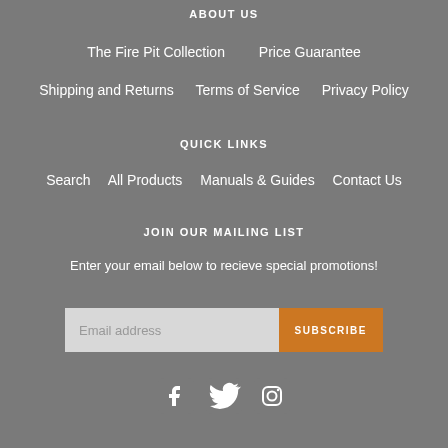ABOUT US
The Fire Pit Collection
Price Guarantee
Shipping and Returns
Terms of Service
Privacy Policy
QUICK LINKS
Search
All Products
Manuals & Guides
Contact Us
JOIN OUR MAILING LIST
Enter your email below to recieve special promotions!
[Figure (other): Email subscription form with email address input field and orange SUBSCRIBE button]
[Figure (other): Social media icons: Facebook, Twitter, Instagram]